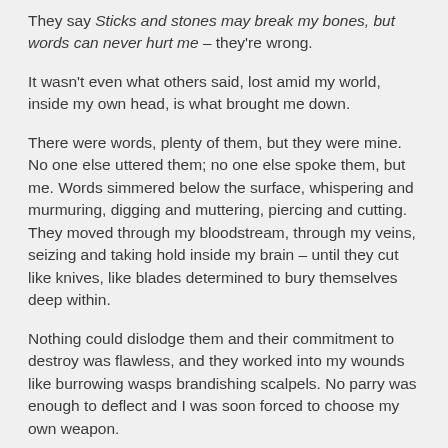They say Sticks and stones may break my bones, but words can never hurt me – they're wrong.
It wasn't even what others said, lost amid my world, inside my own head, is what brought me down.
There were words, plenty of them, but they were mine. No one else uttered them; no one else spoke them, but me. Words simmered below the surface, whispering and murmuring, digging and muttering, piercing and cutting. They moved through my bloodstream, through my veins, seizing and taking hold inside my brain – until they cut like knives, like blades determined to bury themselves deep within.
Nothing could dislodge them and their commitment to destroy was flawless, and they worked into my wounds like burrowing wasps brandishing scalpels. No parry was enough to deflect and I was soon forced to choose my own weapon.